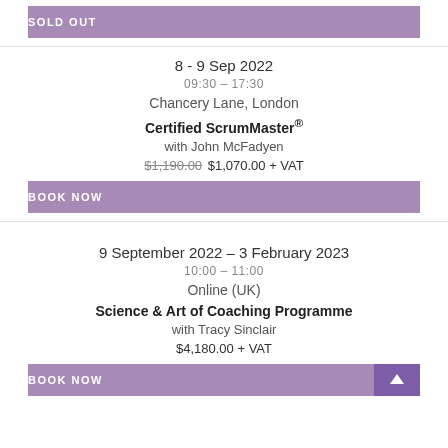SOLD OUT
8 - 9 Sep 2022
09:30 - 17:30
Chancery Lane, London
Certified ScrumMaster®
with John McFadyen
$1,190.00 $1,070.00 + VAT
BOOK NOW
9 September 2022 – 3 February 2023
10:00 - 11:00
Online (UK)
Science & Art of Coaching Programme
with Tracy Sinclair
$4,180.00 + VAT
BOOK NOW